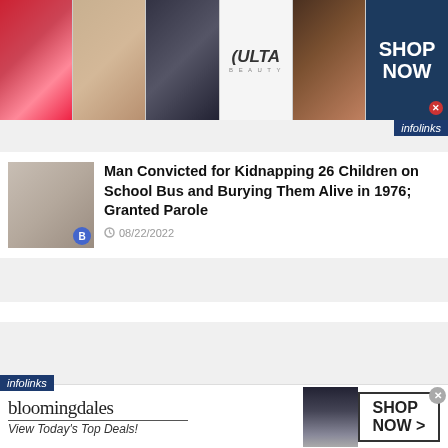[Figure (photo): Ulta Beauty advertisement banner with makeup/beauty images: lips, brush, eye makeup, Ulta Beauty logo, eye close-up, and SHOP NOW button with infolinks tag]
[Figure (photo): Thumbnail image of an older bald man with glasses]
Man Convicted for Kidnapping 26 Children on School Bus and Burying Them Alive in 1976; Granted Parole
08/22/2022
[Figure (photo): Thumbnail image of crime scene with police tape reading SCENE DO NOT CR and flashing lights]
Heartbreaking: 6-Year-Old Girl Killed in Apparent Murder-Suicide During Custody Exchange Dispute in Ohio
08/22/2022
[Figure (photo): Bloomingdale's advertisement banner with logo, View Today's Top Deals tagline, model in hat, and SHOP NOW button]